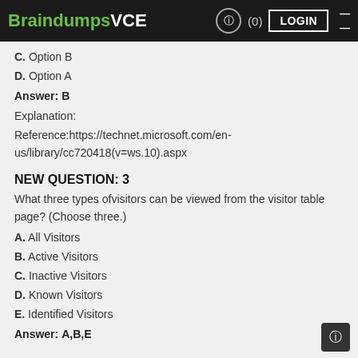BraindumpsVCE LOGIN
C. Option B
D. Option A
Answer: B
Explanation:
Reference:https://technet.microsoft.com/en-us/library/cc720418(v=ws.10).aspx
NEW QUESTION: 3
What three types ofvisitors can be viewed from the visitor table page? (Choose three.)
A. All Visitors
B. Active Visitors
C. Inactive Visitors
D. Known Visitors
E. Identified Visitors
Answer: A,B,E